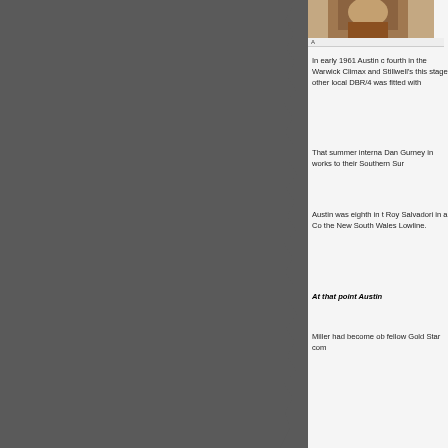[Figure (photo): Partial photo of a person, cropped at top right of page]
In early 1961 Austin came fourth in the Warwick... Climax and Stillwell's... this stage other local... DBR/4 was fitted with...
That summer interna... Dan Gurney in works... to their Southern Sur...
Austin was eighth in t... Roy Salvadori in a Co... the New South Wales... Lowline.
At that point Austin...
Miller had become ob... fellow Gold Star com...